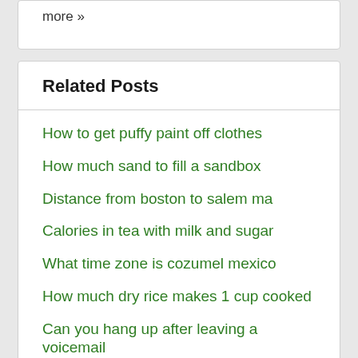more »
Related Posts
How to get puffy paint off clothes
How much sand to fill a sandbox
Distance from boston to salem ma
Calories in tea with milk and sugar
What time zone is cozumel mexico
How much dry rice makes 1 cup cooked
Can you hang up after leaving a voicemail
The triple alliance was composed of